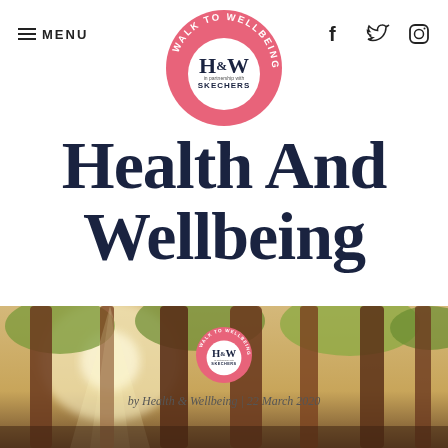MENU
[Figure (logo): Walk to Wellbeing H&W in partnership with Skechers circular pink badge logo (large)]
Health And Wellbeing
[Figure (logo): Walk to Wellbeing H&W in partnership with Skechers circular pink badge logo (small)]
by Health & Wellbeing | 22 March 2020
[Figure (photo): Forest of tall redwood trees with sunlight filtering through, warm golden tones]